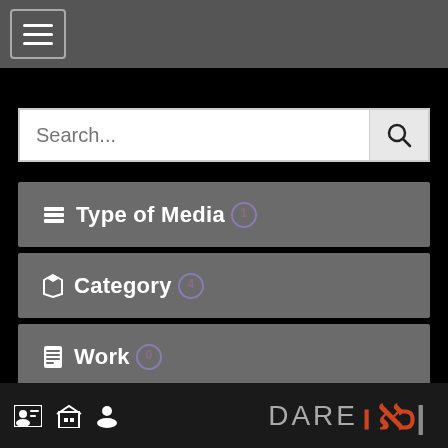[Figure (screenshot): Mobile app interface with hamburger menu button in top navigation bar]
[Figure (screenshot): Search bar with placeholder text 'Search...' and magnifying glass button]
Type of Media (badge: 1)
Category (badge: 4)
Work (badge: 0)
Author (badge: 3)
Date (badge: 1)
[Figure (logo): DARE logo with stylized Hebrew/Arabic script symbols in orange/red]